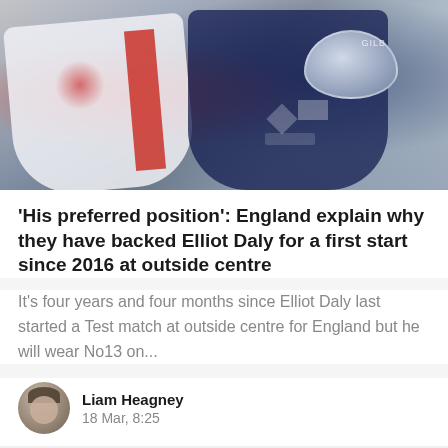[Figure (photo): England rugby players in white and navy jerseys, one holding a Gilbert rugby ball with Umbro branding visible]
'His preferred position': England explain why they have backed Elliot Daly for a first start since 2016 at outside centre
It's four years and four months since Elliot Daly last started a Test match at outside centre for England but he will wear No13 on...
Liam Heagney
18 Mar, 8:25
[Figure (photo): Close-up photo of a male rugby player's face, short hair, blurred stadium background with red elements]